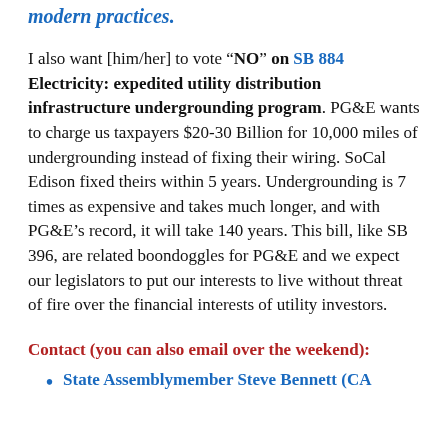modern practices.
I also want [him/her] to vote "NO" on SB 884 Electricity: expedited utility distribution infrastructure undergrounding program. PG&E wants to charge us taxpayers $20-30 Billion for 10,000 miles of undergrounding instead of fixing their wiring. SoCal Edison fixed theirs within 5 years. Undergrounding is 7 times as expensive and takes much longer, and with PG&E’s record, it will take 140 years. This bill, like SB 396, are related boondoggles for PG&E and we expect our legislators to put our interests to live without threat of fire over the financial interests of utility investors.
Contact (you can also email over the weekend):
State Assemblymember Steve Bennett (CA